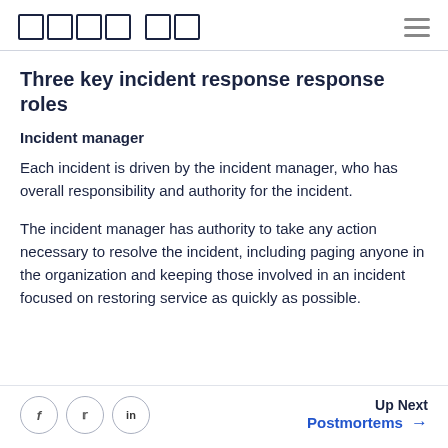□□□□ □□
Three key incident response response roles
Incident manager
Each incident is driven by the incident manager, who has overall responsibility and authority for the incident.
The incident manager has authority to take any action necessary to resolve the incident, including paging anyone in the organization and keeping those involved in an incident focused on restoring service as quickly as possible.
Up Next Postmortems →